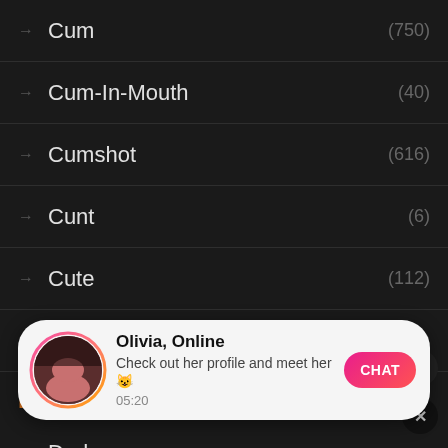Cum (750)
Cum-In-Mouth (40)
Cumshot (616)
Cunt (6)
Cute (112)
Czech (6)
D
Dad
Dildo (63)
[Figure (screenshot): Notification popup for Olivia, Online with chat button and avatar]